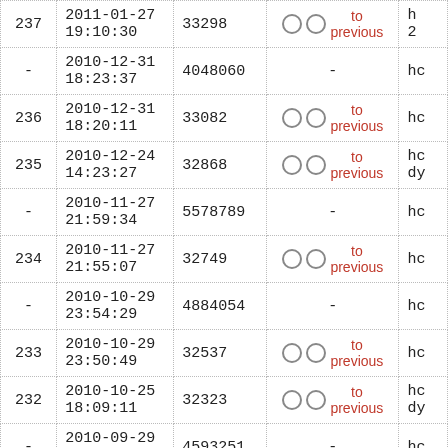| # | Date | Revision | Diff |  |
| --- | --- | --- | --- | --- |
| 237 | 2011-01-27 19:10:30 | 33298 | ○ ○ to previous | h... |
| - | 2010-12-31 18:23:37 | 4048060 | - | h... |
| 236 | 2010-12-31 18:20:11 | 33082 | ○ ○ to previous | h... |
| 235 | 2010-12-24 14:23:27 | 32868 | ○ ○ to previous | h... dy... |
| - | 2010-11-27 21:59:34 | 5578789 | - | h... |
| 234 | 2010-11-27 21:55:07 | 32749 | ○ ○ to previous | h... |
| - | 2010-10-29 23:54:29 | 4884054 | - | h... |
| 233 | 2010-10-29 23:50:49 | 32537 | ○ ○ to previous | h... |
| 232 | 2010-10-25 18:09:11 | 32323 | ○ ○ to previous | h... dy... |
| - | 2010-09-29 18:11:49 | 4593251 | - | h... |
| 231 | 2010-09-29 18:08:34 | 32085 | ○ ○ to previous | h... |